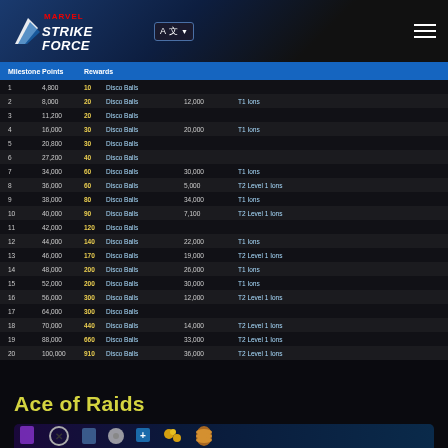Marvel Strike Force - navigation header with logo, language selector, and menu
| Milestone | Points | Rewards |
| --- | --- | --- |
| 1 | 4,800 | 10 | Disco Balls |  |  |
| 2 | 8,000 | 20 | Disco Balls | 12,000 | T1 Ions |
| 3 | 11,200 | 20 | Disco Balls |  |  |
| 4 | 16,000 | 30 | Disco Balls | 20,000 | T1 Ions |
| 5 | 20,800 | 30 | Disco Balls |  |  |
| 6 | 27,200 | 40 | Disco Balls |  |  |
| 7 | 34,000 | 60 | Disco Balls | 30,000 | T1 Ions |
| 8 | 36,000 | 60 | Disco Balls | 5,000 | T2 Level 1 Ions |
| 9 | 38,000 | 80 | Disco Balls | 34,000 | T1 Ions |
| 10 | 40,000 | 90 | Disco Balls | 7,100 | T2 Level 1 Ions |
| 11 | 42,000 | 120 | Disco Balls |  |  |
| 12 | 44,000 | 140 | Disco Balls | 22,000 | T1 Ions |
| 13 | 46,000 | 170 | Disco Balls | 19,000 | T2 Level 1 Ions |
| 14 | 48,000 | 200 | Disco Balls | 26,000 | T1 Ions |
| 15 | 52,000 | 200 | Disco Balls | 30,000 | T1 Ions |
| 16 | 56,000 | 300 | Disco Balls | 12,000 | T2 Level 1 Ions |
| 17 | 64,000 | 300 | Disco Balls |  |  |
| 18 | 70,000 | 440 | Disco Balls | 14,000 | T2 Level 1 Ions |
| 19 | 88,000 | 660 | Disco Balls | 33,000 | T2 Level 1 Ions |
| 20 | 100,000 | 910 | Disco Balls | 36,000 | T2 Level 1 Ions |
Ace of Raids
[Figure (photo): Game rewards banner showing game items: purple card/device, X-Men symbol, character portrait, disc, blue cube with plus, yellow orbs, and golden spring/coin items on a blue sci-fi background]